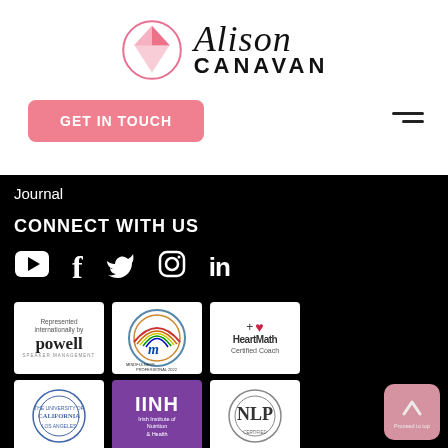[Figure (logo): Alison Canavan logo with pink diamond geometric icon and signature-style text]
[Figure (other): Pink 'GET IN TOUCH' button and hamburger menu icon]
Journal
CONNECT WITH US
[Figure (other): Social media icons: YouTube, Facebook, Twitter, Instagram, LinkedIn]
[Figure (other): Badge: Represented internationally by Powell Speaker Management]
[Figure (other): Badge: International Mindfulness Professionals 2022 circular seal]
[Figure (other): Badge: HeartMath Certified Coach with pink heart icon]
[Figure (other): Badge: University of California seal]
[Figure (other): Badge: IINH Irish Institute of Nutrition & Health]
[Figure (other): Badge: NLP circular seal/logo]
[Figure (other): Scroll-to-top button with upward arrow]